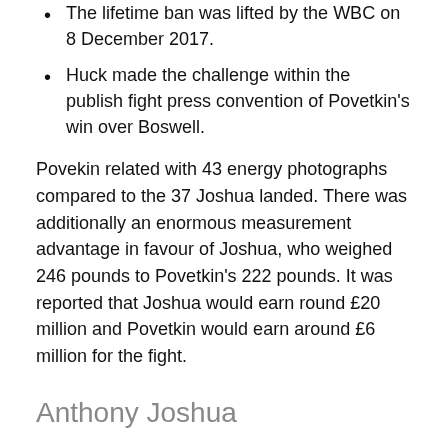The lifetime ban was lifted by the WBC on 8 December 2017.
Huck made the challenge within the publish fight press convention of Povetkin's win over Boswell.
Povekin related with 43 energy photographs compared to the 37 Joshua landed. There was additionally an enormous measurement advantage in favour of Joshua, who weighed 246 pounds to Povetkin's 222 pounds. It was reported that Joshua would earn round £20 million and Povetkin would earn around £6 million for the fight.
Anthony Joshua
“I saw Derek at ringside and he made me realise those guys are really massive, so I need to give attention to ways much more.” Okolie mentioned after his win. But